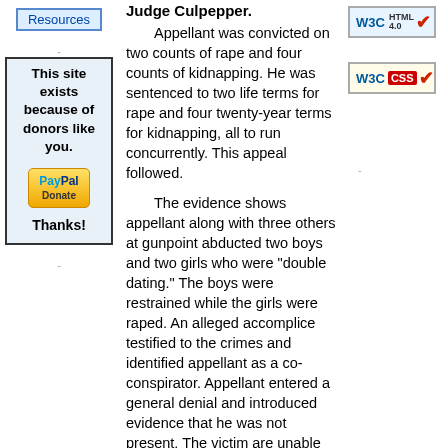Resources
This site exists because of donors like you.
[Figure (logo): PayPal Donate button]
Thanks!
Judge Culpepper.
Appellant was convicted on two counts of rape and four counts of kidnapping. He was sentenced to two life terms for rape and four twenty-year terms for kidnapping, all to run concurrently. This appeal followed.
The evidence shows appellant along with three others at gunpoint abducted two boys and two girls who were "double dating." The boys were restrained while the girls were raped. An alleged accomplice testified to the crimes and identified appellant as a co-conspirator. Appellant entered a general denial and introduced evidence that he was not present. The victim are unable to...
[Figure (logo): W3C HTML 4.0 validation badge]
[Figure (logo): W3C CSS validation badge]